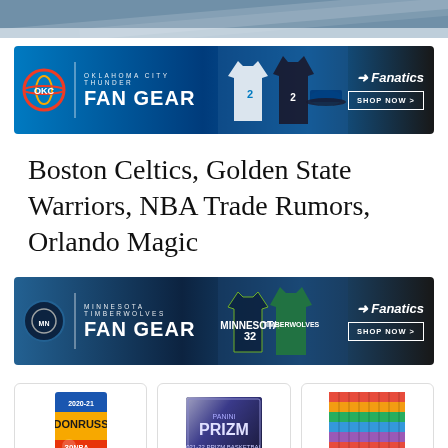[Figure (photo): Cropped top portion of a basketball court or sports scene, partially visible]
[Figure (photo): Oklahoma City Thunder Fan Gear advertisement banner with Fanatics branding, blue background, player jerseys and hats, Shop Now button]
Boston Celtics, Golden State Warriors, NBA Trade Rumors, Orlando Magic
[Figure (photo): Minnesota Timberwolves Fan Gear advertisement banner with Fanatics branding, dark blue background, player jerseys, Shop Now button]
[Figure (photo): 2020-21 Panini NBA Donruss trading card pack]
2020-21 Panini NBA
[Figure (photo): 2021-22 Panini Prizm basketball trading card pack]
2021-22 Panini Prizm
[Figure (photo): 100 NBA Basketball trading cards lot]
100 NBA Basketball